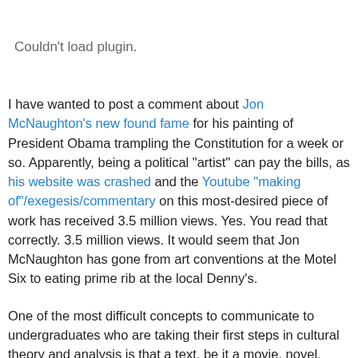[Figure (other): Plugin placeholder area showing 'Couldn't load plugin.' text in gray]
I have wanted to post a comment about Jon McNaughton's new found fame for his painting of President Obama trampling the Constitution for a week or so. Apparently, being a political "artist" can pay the bills, as his website was crashed and the Youtube "making of"/exegesis/commentary on this most-desired piece of work has received 3.5 million views. Yes. You read that correctly. 3.5 million views. It would seem that Jon McNaughton has gone from art conventions at the Motel Six to eating prime rib at the local Denny's.
One of the most difficult concepts to communicate to undergraduates who are taking their first steps in cultural theory and analysis is that a text, be it a movie, novel, comic